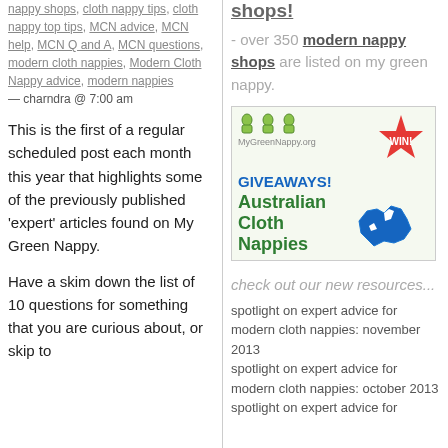nappy shops, cloth nappy tips, cloth nappy top tips, MCN advice, MCN help, MCN Q and A, MCN questions, modern cloth nappies, Modern Cloth Nappy advice, modern nappies — charndra @ 7:00 am
This is the first of a regular scheduled post each month this year that highlights some of the previously published 'expert' articles found on My Green Nappy.
Have a skim down the list of 10 questions for something that you are curious about, or skip to
shops!
- over 350 modern nappy shops are listed on my green nappy.
[Figure (infographic): Giveaway banner for Australian Cloth Nappies with WIN badge, green background, logo icons, and Australian map illustration]
check out our new resources...
spotlight on expert advice for modern cloth nappies: november 2013
spotlight on expert advice for modern cloth nappies: october 2013
spotlight on expert advice for